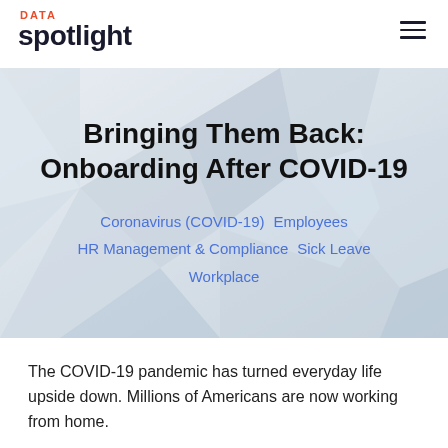DATA spotlight
Bringing Them Back: Onboarding After COVID-19
Coronavirus (COVID-19) Employees HR Management & Compliance Sick Leave Workplace
The COVID-19 pandemic has turned everyday life upside down. Millions of Americans are now working from home.